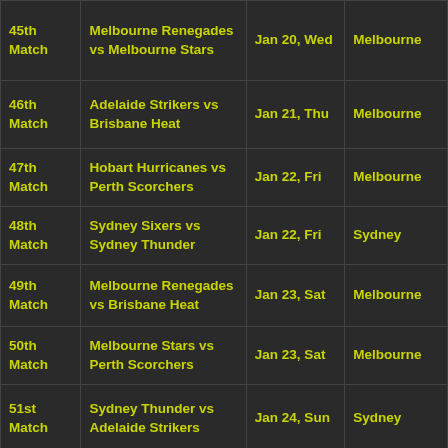| Match | Teams | Date | Venue |
| --- | --- | --- | --- |
| 45th Match | Melbourne Renegades vs Melbourne Stars | Jan 20, Wed | Melbourne |
| 46th Match | Adelaide Strikers vs Brisbane Heat | Jan 21, Thu | Melbourne |
| 47th Match | Hobart Hurricanes vs Perth Scorchers | Jan 22, Fri | Melbourne |
| 48th Match | Sydney Sixers vs Sydney Thunder | Jan 22, Fri | Sydney |
| 49th Match | Melbourne Renegades vs Brisbane Heat | Jan 23, Sat | Melbourne |
| 50th Match | Melbourne Stars vs Perth Scorchers | Jan 23, Sat | Melbourne |
| 51st Match | Sydney Thunder vs Adelaide Strikers | Jan 24, Sun | Sydney |
|  |  |  |  |